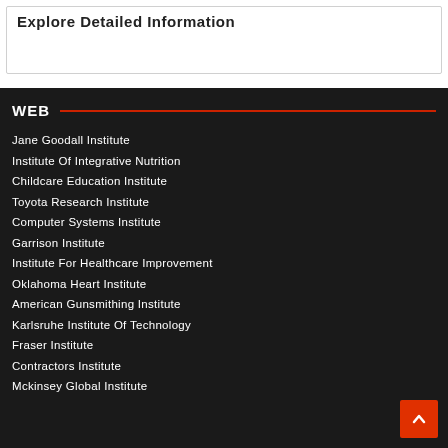Explore Detailed Information
WEB
Jane Goodall Institute
Institute Of Integrative Nutrition
Childcare Education Institute
Toyota Research Institute
Computer Systems Institute
Garrison Institute
Institute For Healthcare Improvement
Oklahoma Heart Institute
American Gunsmithing Institute
Karlsruhe Institute Of Technology
Fraser Institute
Contractors Institute
Mckinsey Global Institute